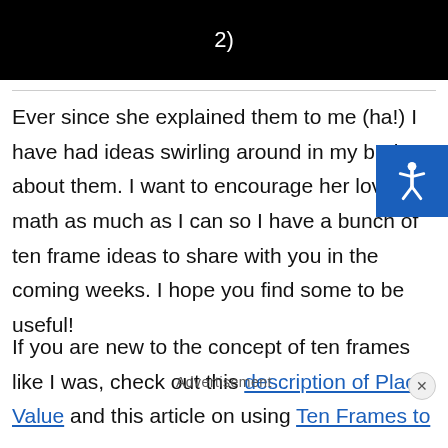[Figure (screenshot): Black background image with white text showing '2)']
Ever since she explained them to me (ha!) I have had ideas swirling around in my brain about them. I want to encourage her love of math as much as I can so I have a bunch of ten frame ideas to share with you in the coming weeks. I hope you find some to be useful!
If you are new to the concept of ten frames like I was, check out this description of Place Value and this article on using Ten Frames to